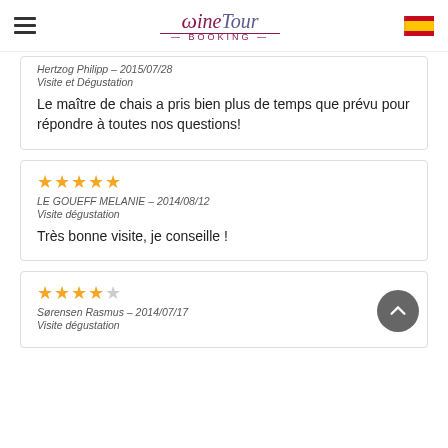Wine Tour Booking
Hertzog Philipp – 2015/07/28
Visite et Dégustation

Le maître de chais a pris bien plus de temps que prévu pour répondre à toutes nos questions!
★★★★★
LE GOUEFF MELANIE – 2014/08/12
Visite dégustation

Très bonne visite, je conseille !
★★★★☆
Sørensen Rasmus – 2014/07/17
Visite dégustation